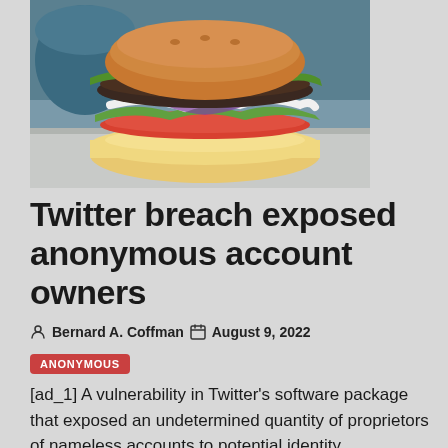[Figure (photo): Close-up photo of a burger/sandwich with toppings including lettuce, tomato, onion, and sauce on a bun, against a blue background]
Twitter breach exposed anonymous account owners
Bernard A. Coffman  August 9, 2022
ANONYMOUS
[ad_1] A vulnerability in Twitter's software package that exposed an undetermined quantity of proprietors of nameless accounts to potential identity compromise final year was evidently...